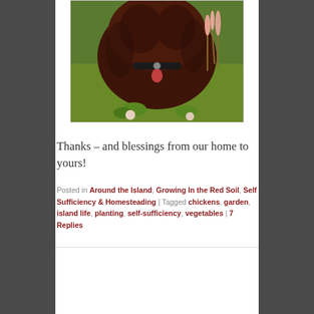[Figure (photo): A dark brown/reddish dog with a black collar and pink/red tag, sitting in green grass with pink wildflowers around it, photographed from above looking down at the dog.]
Thanks – and blessings from our home to yours!
Posted in Around the Island, Growing In the Red Soil, Self Sufficiency & Homesteading | Tagged chickens, garden, island life, planting, self-sufficiency, vegetables | 7 Replies